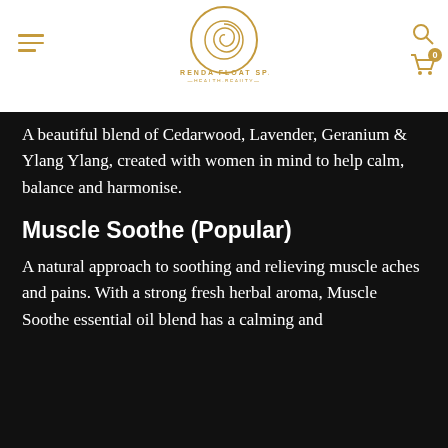[Figure (logo): Orenda Float Spa logo — circular swirl design in gold/tan color with text ORENDA FLOAT SPA and tagline HEALTH BEAUTY]
A beautiful blend of Cedarwood, Lavender, Geranium & Ylang Ylang, created with women in mind to help calm, balance and harmonise.
Muscle Soothe (Popular)
A natural approach to soothing and relieving muscle aches and pains. With a strong fresh herbal aroma, Muscle Soothe essential oil blend has a calming and